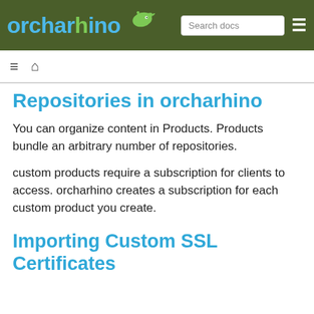orcharhino | Search docs
Repositories in orcharhino
You can organize content in Products. Products bundle an arbitrary number of repositories.
custom products require a subscription for clients to access. orcharhino creates a subscription for each custom product you create.
Importing Custom SSL Certificates